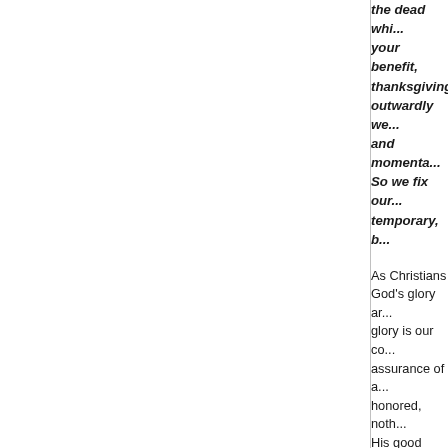the dead whi... your benefit, thanksgiving... outwardly we... and momenta... So we fix our... temporary, b...
As Christians God's glory an... glory is our co... assurance of a... honored, noth... His good purp...
But seek first... as well. (Matt...
I encourage e... motivation in e... will each ascri... make the Mo...